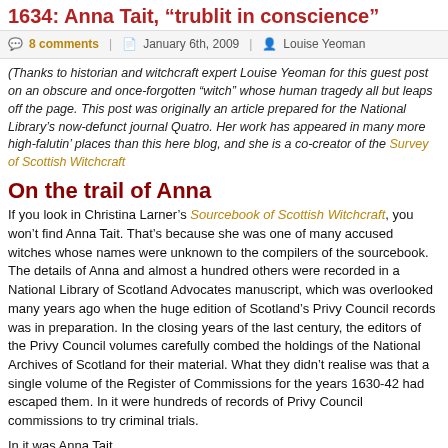1634: Anna Tait, “trublit in conscience”
8 comments | January 6th, 2009 | Louise Yeoman
(Thanks to historian and witchcraft expert Louise Yeoman for this guest post on an obscure and once-forgotten “witch” whose human tragedy all but leaps off the page. This post was originally an article prepared for the National Library’s now-defunct journal Quatro. Her work has appeared in many more high-falutin’ places than this here blog, and she is a co-creator of the Survey of Scottish Witchcraft
On the trail of Anna
If you look in Christina Larner’s Sourcebook of Scottish Witchcraft, you won’t find Anna Tait. That’s because she was one of many accused witches whose names were unknown to the compilers of the sourcebook. The details of Anna and almost a hundred others were recorded in a National Library of Scotland Advocates manuscript, which was overlooked many years ago when the huge edition of Scotland’s Privy Council records was in preparation. In the closing years of the last century, the editors of the Privy Council volumes carefully combed the holdings of the National Archives of Scotland for their material. What they didn’t realise was that a single volume of the Register of Commissions for the years 1630-42 had escaped them. In it were hundreds of records of Privy Council commissions to try criminal trials.
In it was Anna Tait.
I first came across Anna and Adv. Ms. 31.3.10 when my friend and fellow researcher Dr Michael Wasser of McGill University, Montreal showed it to me in the Library’s North Reading Room. Michael was (and still is) a historian of crime of violence in 16th-17th century Scotland, and he was instantly aware of the